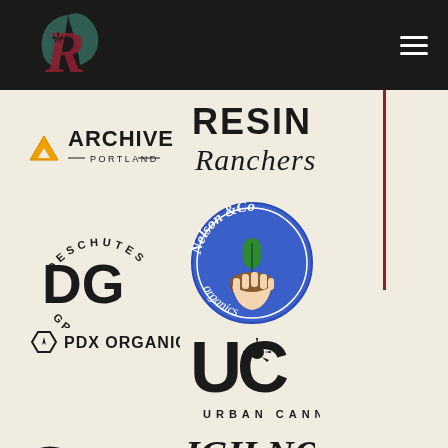Navigation header with logo and hamburger menu
[Figure (logo): Archive Portland logo - triangle with cannabis leaf and text ARCHIVE PORTLAND]
[Figure (logo): Resin Ranchers logo - bold sans-serif RESIN with script Ranchers]
[Figure (logo): Deschutes Growery logo - DG monogram with arched text DESCHUTES and GROWERY]
[Figure (logo): Nelson & Co Organics logo - circular badge with hand holding plant]
[Figure (logo): PDX Organics logo - hexagon icon with text PDX ORGANICS]
[Figure (logo): Urban Canna logo - UC monogram with cannabis leaf and text URBAN CANNA]
[Figure (logo): High Noon logo - partial text IGH NOO visible at bottom]